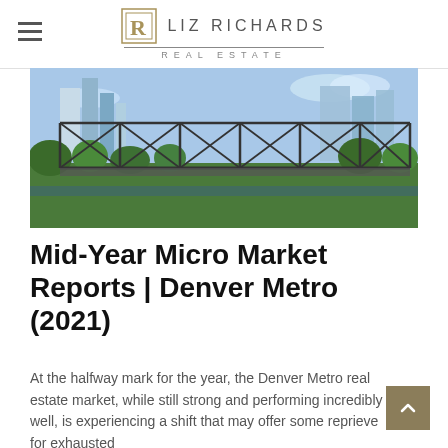LIZ RICHARDS REAL ESTATE
[Figure (photo): Panoramic photo of a steel truss bridge in Denver Metro with city skyscrapers and green trees in the background under a blue sky]
Mid-Year Micro Market Reports | Denver Metro (2021)
At the halfway mark for the year, the Denver Metro real estate market, while still strong and performing incredibly well, is experiencing a shift that may offer some reprieve for exhausted